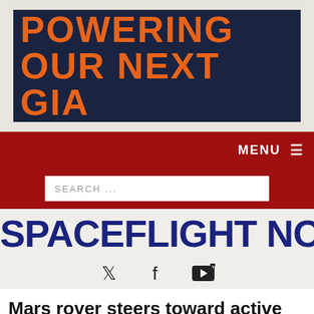[Figure (logo): Advertisement banner with dark navy background and orange bold text reading POWERING OUR NEXT GIA]
MENU ≡
SEARCH ...
SPACEFLIGHT NOW
[Figure (infographic): Social media icons: Twitter bird, Facebook f, YouTube play button]
Mars rover steers toward active
Search For
Spacex Launch Schedule
Free Live TV Stream Online